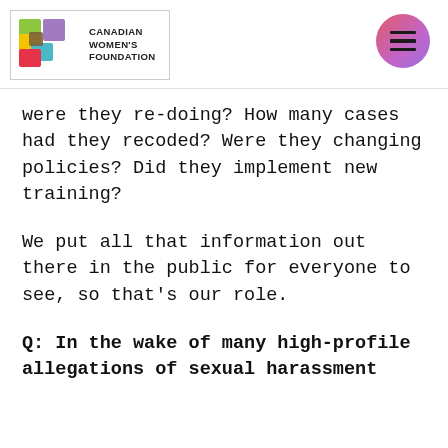[Figure (logo): Canadian Women's Foundation logo with colorful geometric shapes and organization name text]
were they re-doing? How many cases had they recoded? Were they changing policies? Did they implement new training?
We put all that information out there in the public for everyone to see, so that's our role.
Q: In the wake of many high-profile allegations of sexual harassment